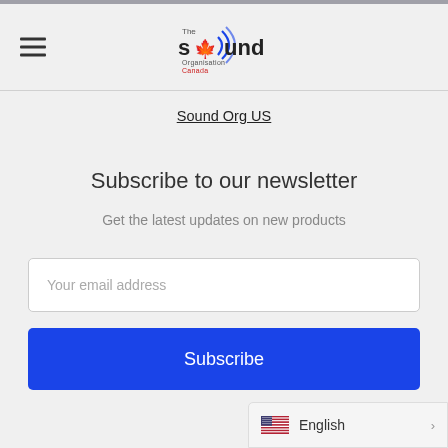The Sound Organisation Canada — logo header with hamburger menu
Sound Org US
Subscribe to our newsletter
Get the latest updates on new products
Your email address
Subscribe
English